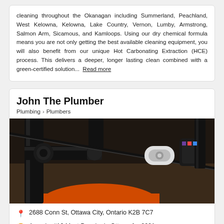cleaning throughout the Okanagan including Summerland, Peachland, West Kelowna, Kelowna, Lake Country, Vernon, Lumby, Armstrong, Salmon Arm, Sicamous, and Kamloops. Using our dry chemical formula means you are not only getting the best available cleaning equipment, you will also benefit from our unique Hot Carbonating Extraction (HCE) process. This delivers a deeper, longer lasting clean combined with a green-certified solution...  Read more
John The Plumber
Plumbing > Plumbers
[Figure (photo): Close-up photo of black plumbing pipes and fittings with a white pipe clamp/coupling visible, and an orange tank/vessel at the bottom. Industrial plumbing equipment.]
2688 Conn St, Ottawa City, Ontario K2B 7C7
Awards: #16 Most Popular in Ottawa for 2021
Request quote